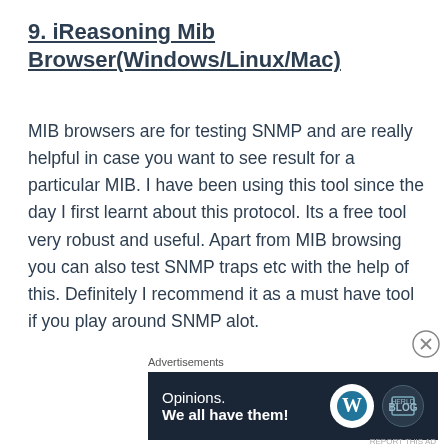9. iReasoning Mib Browser(Windows/Linux/Mac)
MIB browsers are for testing SNMP and are really helpful in case you want to see result for a particular MIB. I have been using this tool since the day I first learnt about this protocol. Its a free tool very robust and useful. Apart from MIB browsing you can also test SNMP traps etc with the help of this. Definitely I recommend it as a must have tool if you play around SNMP alot.
Advertisements
[Figure (other): WordPress advertisement banner with text 'Opinions. We all have them!' and WordPress logo alongside a second circular logo on dark background.]